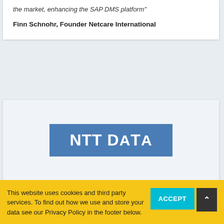the market, enhancing the SAP DMS platform"
Finn Schnohr, Founder Netcare International
[Figure (logo): NTT DATA logo — white text on blue rectangle background]
This website uses cookies and third party services. To find out how we use and store your data see our Privacy Policy in the footer below.